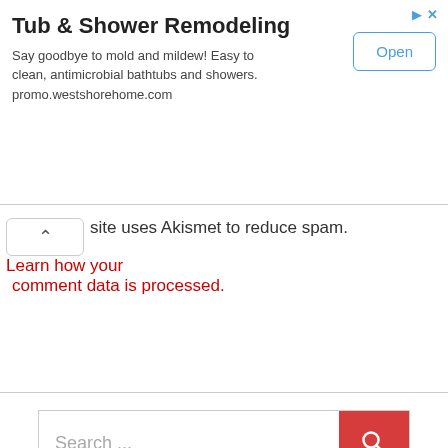[Figure (screenshot): Advertisement banner for Tub & Shower Remodeling with title, body text, Open button, and ad icons]
site uses Akismet to reduce spam. Learn how your comment data is processed.
[Figure (other): Search bar with placeholder text 'Search ...' and a red search button with magnifying glass icon]